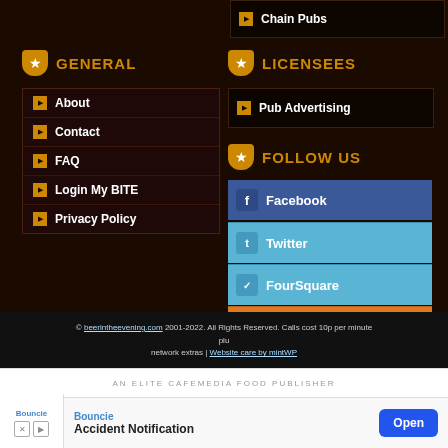Chain Pubs
GENERAL
LICENSEES
About
Contact
FAQ
Login My BITE
Privacy Policy
Pub Advertising
FOLLOW US
Facebook
Twitter
FourSquare
Blog
© beerintheevening.com 2001-2022. All Rights Reserved. Calls cost 10p per minute plus network extras | Website care by mintWP
AN ELITE CAFEMEDIA FOOD PUBLISHER
[Figure (other): Bouncie Accident Notification advertisement banner with Open button]